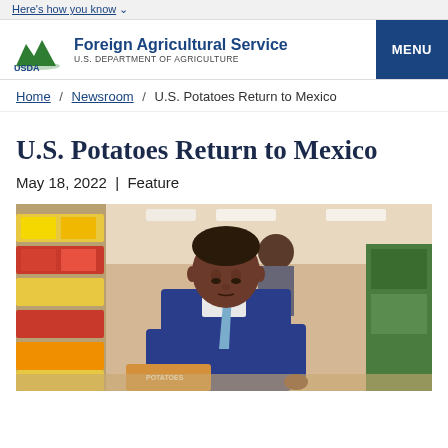Here's how you know
[Figure (logo): USDA Foreign Agricultural Service logo with green mountain/field emblem]
Foreign Agricultural Service U.S. DEPARTMENT OF AGRICULTURE MENU
Home / Newsroom / U.S. Potatoes Return to Mexico
U.S. Potatoes Return to Mexico
May 18, 2022  |  Feature
[Figure (photo): A man in a blue suit with a light blue tie looking down at product bags in a grocery store produce section with colorful packaged goods visible on shelves in the background]